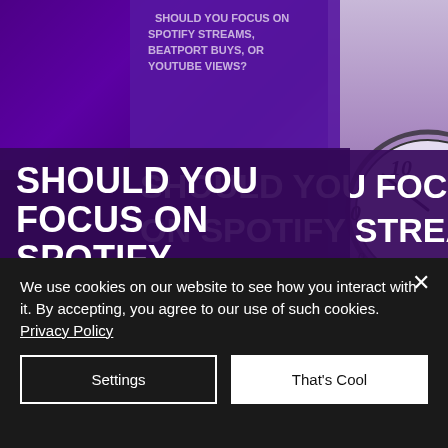[Figure (screenshot): Website screenshot with purple-tinted music studio background image in two sections (top and bottom), with a dark purple overlay block containing bold white uppercase text: 'SHOULD YOU FOCUS ON SPOTIFY STREAMS, BEATPORT BUYS, OR YOUTUBE VIEWS?' shown in smaller text at top and larger bold text in middle. Right side shows a clock face with numbers. Bottom section shows music mixing equipment with a glowing green circle.]
SHOULD YOU FOCUS ON SPOTIFY STREAMS, BEATPORT BUYS, OR
We use cookies on our website to see how you interact with it. By accepting, you agree to our use of such cookies. Privacy Policy